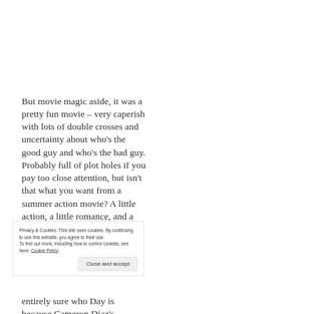But movie magic aside, it was a pretty fun movie – very caperish with lots of double crosses and uncertainty about who's the good guy and who's the bad guy. Probably full of plot holes if you pay too close attention, but isn't that what you want from a summer action movie? A little action, a little romance, and a plot that doesn't always make the most sense.
Privacy & Cookies: This site uses cookies. By continuing to use this website, you agree to their use.
To find out more, including how to control cookies, see here: Cookie Policy
entirely sure who Day is because Cameron Diaz's